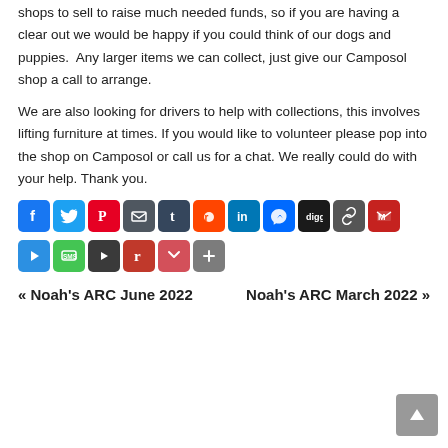shops to sell to raise much needed funds, so if you are having a clear out we would be happy if you could think of our dogs and puppies. Any larger items we can collect, just give our Camposol shop a call to arrange.
We are also looking for drivers to help with collections, this involves lifting furniture at times. If you would like to volunteer please pop into the shop on Camposol or call us for a chat. We really could do with your help. Thank you.
[Figure (other): Social media sharing icons: Facebook, Twitter, Pinterest, Email, Tumblr, Reddit, LinkedIn, Messenger, Digg, Copy Link, Gmail, Blogger, SMS, Dailymotion, Flipboard, Pocket, Share More]
« Noah's ARC June 2022    Noah's ARC March 2022 »